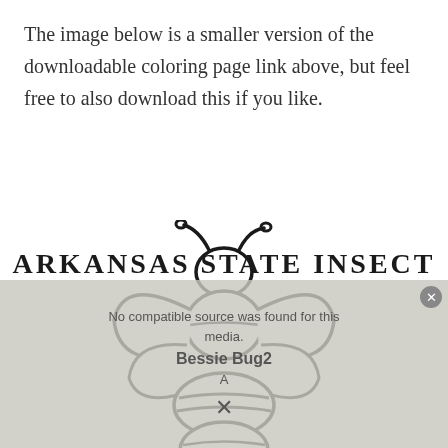The image below is a smaller version of the downloadable coloring page link above, but feel free to also download this if you like.
[Figure (illustration): Line drawing coloring page of a honeybee (top view) with wings spread, segmented body, and antennae, suitable for coloring.]
ARKANSAS STATE Insect
No compatible source was found for this media. Bessie Bug2 A x